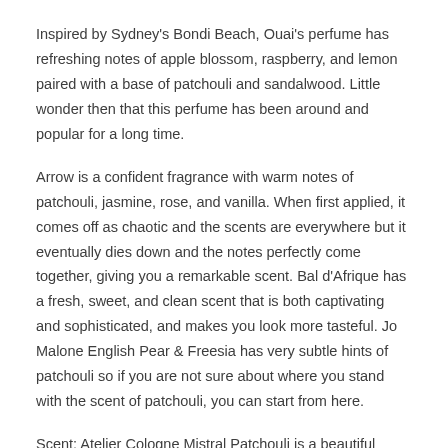Inspired by Sydney's Bondi Beach, Ouai's perfume has refreshing notes of apple blossom, raspberry, and lemon paired with a base of patchouli and sandalwood. Little wonder then that this perfume has been around and popular for a long time.
Arrow is a confident fragrance with warm notes of patchouli, jasmine, rose, and vanilla. When first applied, it comes off as chaotic and the scents are everywhere but it eventually dies down and the notes perfectly come together, giving you a remarkable scent. Bal d'Afrique has a fresh, sweet, and clean scent that is both captivating and sophisticated, and makes you look more tasteful. Jo Malone English Pear & Freesia has very subtle hints of patchouli so if you are not sure about where you stand with the scent of patchouli, you can start from here.
Scent: Atelier Cologne Mistral Patchouli is a beautiful fragrance …